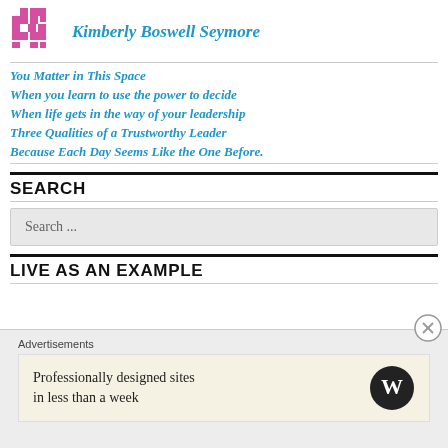Kimberly Boswell Seymore
You Matter in This Space
When you learn to use the power to decide
When life gets in the way of your leadership
Three Qualities of a Trustworthy Leader
Because Each Day Seems Like the One Before.
SEARCH
Search ...
LIVE AS AN EXAMPLE
Advertisements
Professionally designed sites in less than a week